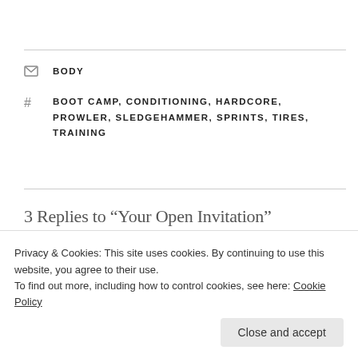BODY
BOOT CAMP, CONDITIONING, HARDCORE, PROWLER, SLEDGEHAMMER, SPRINTS, TIRES, TRAINING
3 Replies to “Your Open Invitation”
Privacy & Cookies: This site uses cookies. By continuing to use this website, you agree to their use.
To find out more, including how to control cookies, see here: Cookie Policy